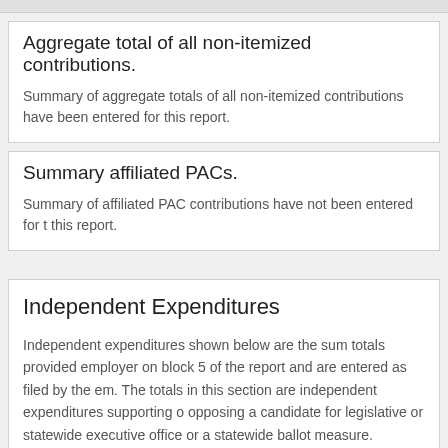Aggregate total of all non-itemized contributions.
Summary of aggregate totals of all non-itemized contributions have been entered for this report.
Summary affiliated PACs.
Summary of affiliated PAC contributions have not been entered for this report.
Independent Expenditures
Independent expenditures shown below are the sum totals provided employer on block 5 of the report and are entered as filed by the em. The totals in this section are independent expenditures supporting o opposing a candidate for legislative or statewide executive office or a statewide ballot measure.
Summary independent expenditures supporting or